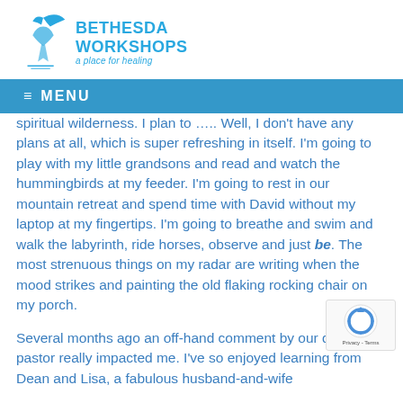[Figure (logo): Bethesda Workshops logo: a blue bird/dove silhouette with the text BETHESDA WORKSHOPS and tagline 'a place for healing' in blue]
≡  MENU
spiritual wilderness. I plan to ….. Well, I don't have any plans at all, which is super refreshing in itself. I'm going to play with my little grandsons and read and watch the hummingbirds at my feeder. I'm going to rest in our mountain retreat and spend time with David without my laptop at my fingertips. I'm going to breathe and swim and walk the labyrinth, ride horses, observe and just be. The most strenuous things on my radar are writing when the mood strikes and painting the old flaking rocking chair on my porch.
Several months ago an off-hand comment by our daughter's pastor really impacted me. I've so enjoyed learning from Dean and Lisa, a fabulous husband-and-wife